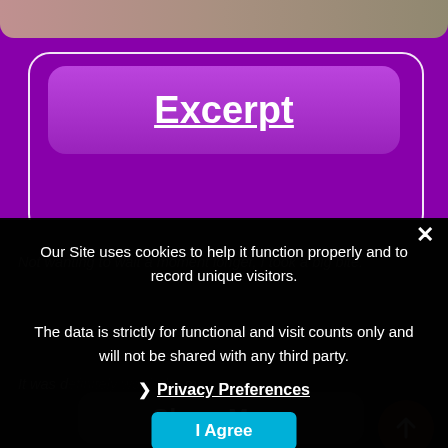[Figure (screenshot): Purple website background with a card containing an 'Excerpt' button in a lighter purple pill shape. Below is a dark section with dimmed italic text from the excerpt content and a 'Show More' button area.]
Our Site uses cookies to help it function properly and to record unique visitors.
The data is strictly for functional and visit counts only and will not be shared with any third party.
❯ Privacy Preferences
I Agree